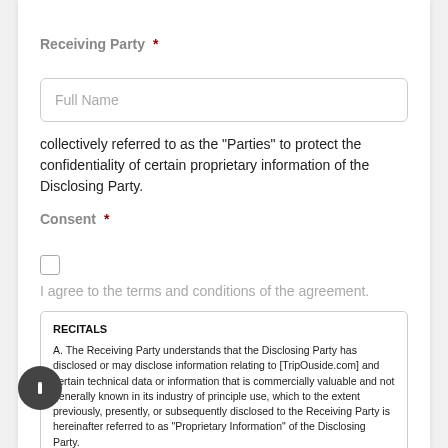Receiving Party *
Full Name
collectively referred to as the "Parties" to protect the confidentiality of certain proprietary information of the Disclosing Party.
Consent *
I agree to the terms and conditions of the agreement.
RECITALS
A. The Receiving Party understands that the Disclosing Party has disclosed or may disclose information relating to [TripOuside.com] and certain technical data or information that is commercially valuable and not generally known in its industry of principle use, which to the extent previously, presently, or subsequently disclosed to the Receiving Party is hereinafter referred to as "Proprietary Information" of the Disclosing Party.
OPERATIVE PROVISIONS
1. In consideration of the disclosure of Proprietary Information by the